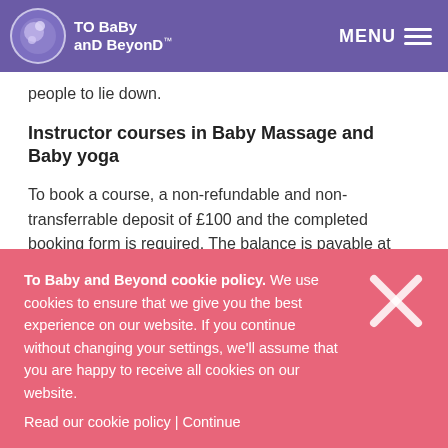To Baby and Beyond™ — MENU
people to lie down.
Instructor courses in Baby Massage and Baby yoga
To book a course, a non-refundable and non-transferrable deposit of £100 and the completed booking form is required. The balance is payable at least one month before the course start date.
To Baby and Beyond cookie policy. We use cookies to ensure that we give you the best experience on our website. If you continue without changing your settings, we'll assume that you are happy to receive all cookies on our website. Read our cookie policy | Continue